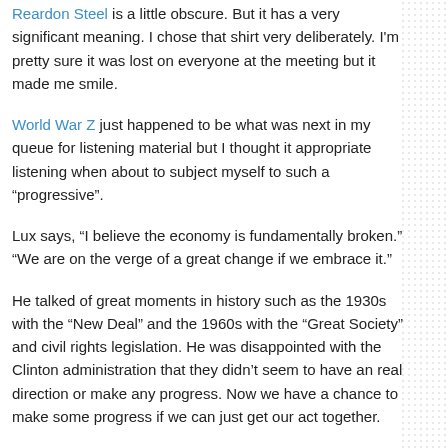Reardon Steel is a little obscure. But it has a very significant meaning. I chose that shirt very deliberately. I'm pretty sure it was lost on everyone at the meeting but it made me smile.
World War Z just happened to be what was next in my queue for listening material but I thought it appropriate listening when about to subject myself to such a "progressive".
Lux says, “I believe the economy is fundamentally broken.” “We are on the verge of a great change if we embrace it.”
He talked of great moments in history such as the 1930s with the “New Deal” and the 1960s with the “Great Society” and civil rights legislation. He was disappointed with the Clinton administration that they didn’t seem to have an real direction or make any progress. Now we have a chance to make some progress if we can just get our act together.
I still get a chill going through me when I think about this.